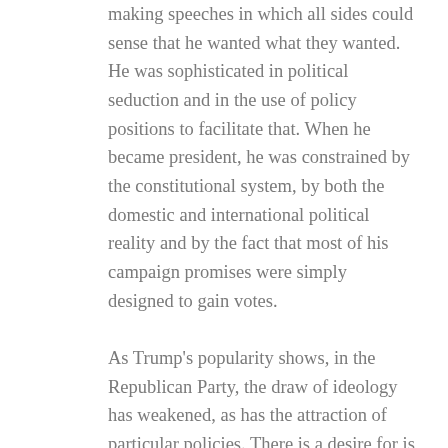making speeches in which all sides could sense that he wanted what they wanted. He was sophisticated in political seduction and in the use of policy positions to facilitate that. When he became president, he was constrained by the constitutional system, by both the domestic and international political reality and by the fact that most of his campaign promises were simply designed to gain votes. As Trump's popularity shows, in the Republican Party, the draw of ideology has weakened, as has the attraction of particular policies. There is a desire for is a person who is prepared to say what he thinks, without apology and without concern for the consequences. In other words, the Republicans are looking for authenticity. This desire is not unique to the Republicans, either. David Axelrod, who was an adviser to Hillary Clinton, was Quote: d last week as saying she needs to get away from her talking points. What Axelrod meant was that in this environment, her constantly calculated most effective sound bite has become the least effective sound bite. Sanders is a socialist, he has always